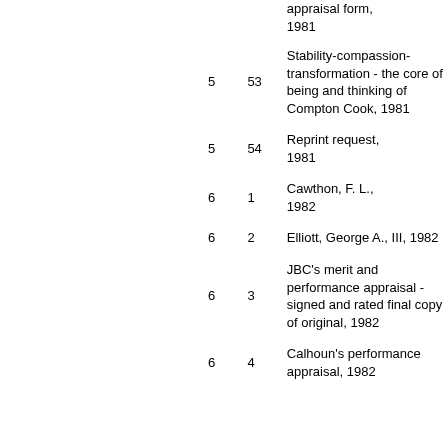|  | Box | Folder | Description |
| --- | --- | --- | --- |
|  |  |  | appraisal form, 1981 |
|  | 5 | 53 | Stability-compassion-transformation - the core of being and thinking of Compton Cook, 1981 |
|  | 5 | 54 | Reprint request, 1981 |
|  | 6 | 1 | Cawthon, F. L., 1982 |
|  | 6 | 2 | Elliott, George A., III, 1982 |
|  | 6 | 3 | JBC's merit and performance appraisal - signed and rated final copy of original, 1982 |
|  | 6 | 4 | Calhoun's performance appraisal, 1982 |